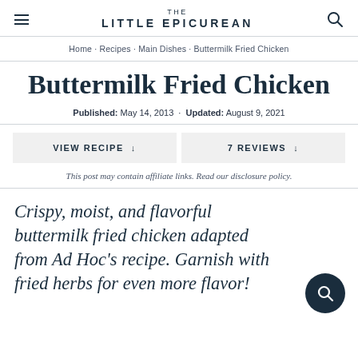THE LITTLE EPICUREAN
Home · Recipes · Main Dishes · Buttermilk Fried Chicken
Buttermilk Fried Chicken
Published: May 14, 2013 · Updated: August 9, 2021
VIEW RECIPE ↓   7 REVIEWS ↓
This post may contain affiliate links. Read our disclosure policy.
Crispy, moist, and flavorful buttermilk fried chicken adapted from Ad Hoc's recipe. Garnish with fried herbs for even more flavor!